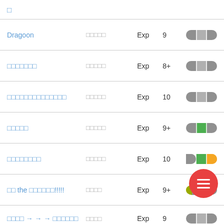□
| Name | Tags | Type | Age | Badge |
| --- | --- | --- | --- | --- |
| Dragoon | □□□□□ | Exp | 9 | gray-gray |
| □□□□□□□ | □□□□□ | Exp | 8+ | gray-gray |
| □□□□□□□□□□□□□□ | □□□□□ | Exp | 10 | gray-gray |
| □□□□□ | □□□□□ | Exp | 9+ | gray-green-gray |
| □□□□□□□□ | □□□□□ | Exp | 10 | gray-green-orange |
| □□ the □□□□□□!!!!! | □□□□ | Exp | 9+ | olive-gray |
| □□□□ → → → □□□□□□ | □□□□ | Exp | 9 | gray-gray |